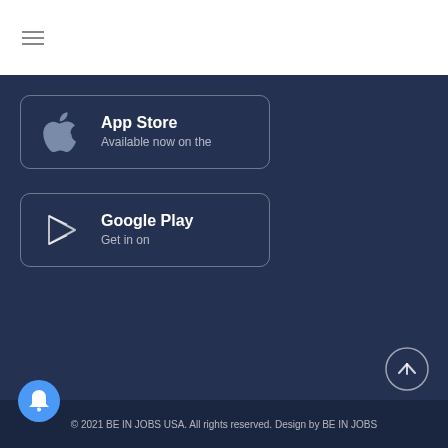[Figure (other): Hamburger menu icon (three horizontal lines)]
[Figure (other): App Store button with Apple logo icon, text 'App Store' and 'Available now on the']
[Figure (other): Google Play button with play triangle icon, text 'Google Play' and 'Get in on']
© 2021 BE IN JOBS USA. All rights reserved. Design by BE IN JOBS
[Figure (other): Scroll-to-top circle button with upward arrow]
[Figure (other): Blue notification bell button]